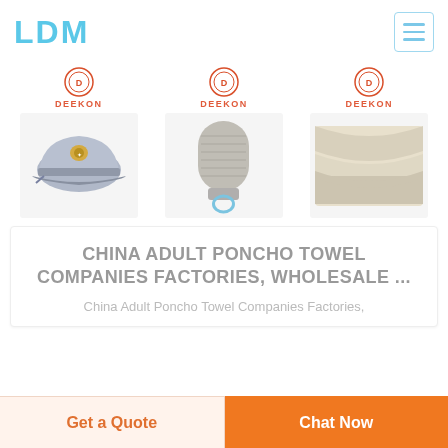LDM
[Figure (photo): Three product images from Deekon: a military/officer cap (grey), a shoulder epaulette (grey fabric), and folded cream/beige fabric. Each has a Deekon brand logo above it.]
CHINA ADULT PONCHO TOWEL COMPANIES FACTORIES, WHOLESALE ...
China Adult Poncho Towel Companies Factories,